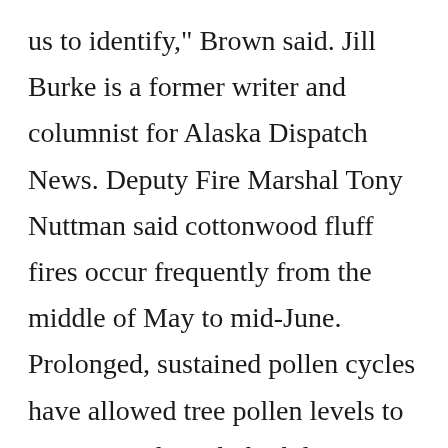us to identify," Brown said. Jill Burke is a former writer and columnist for Alaska Dispatch News. Deputy Fire Marshal Tony Nuttman said cottonwood fluff fires occur frequently from the middle of May to mid-June. Prolonged, sustained pollen cycles have allowed tree pollen levels to remain moderately high late into June, when they'd normally be tapering off, just as grasses are about to hit their peak, he said. â□□Itâ□□s a common misconception for